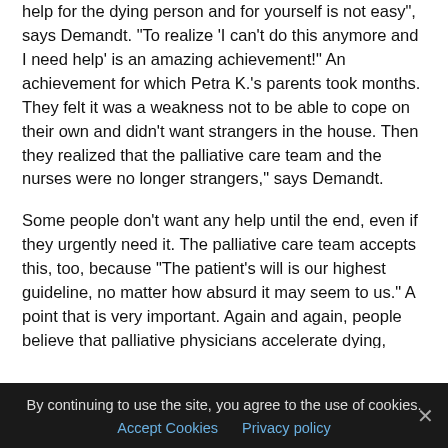help for the dying person and for yourself is not easy", says Demandt. "To realize 'I can't do this anymore and I need help' is an amazing achievement!" An achievement for which Petra K.'s parents took months. They felt it was a weakness not to be able to cope on their own and didn't want strangers in the house. Then they realized that the palliative care team and the nurses were no longer strangers," says Demandt.
Some people don't want any help until the end, even if they urgently need it. The palliative care team accepts this, too, because "The patient's will is our highest guideline, no matter how absurd it may seem to us." A point that is very important. Again and again, people believe that palliative physicians accelerate dying, even against the will of the patient and relatives. But that is not true.
Alleviating suffering
By continuing to use the site, you agree to the use of cookies.